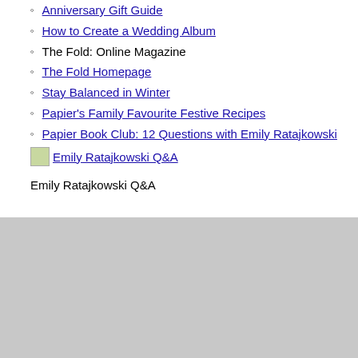Anniversary Gift Guide
How to Create a Wedding Album
The Fold: Online Magazine
The Fold Homepage
Stay Balanced in Winter
Papier's Family Favourite Festive Recipes
Papier Book Club: 12 Questions with Emily Ratajkowski
[Figure (illustration): Small thumbnail image with alt text 'Emily Ratajkowski Q&A', shown as a broken image placeholder next to a link]
Emily Ratajkowski Q&A
[Figure (photo): Large gray placeholder image block at the bottom of the page]